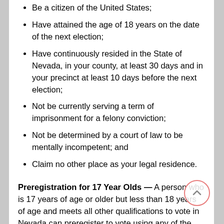Be a citizen of the United States;
Have attained the age of 18 years on the date of the next election;
Have continuously resided in the State of Nevada, in your county, at least 30 days and in your precinct at least 10 days before the next election;
Not be currently serving a term of imprisonment for a felony conviction;
Not be determined by a court of law to be mentally incompetent; and
Claim no other place as your legal residence.
Preregistration for 17 Year Olds — A person who is 17 years of age or older but less than 18 years of age and meets all other qualifications to vote in Nevada can preregister to vote using any of the means available for a person to register to vote. A person